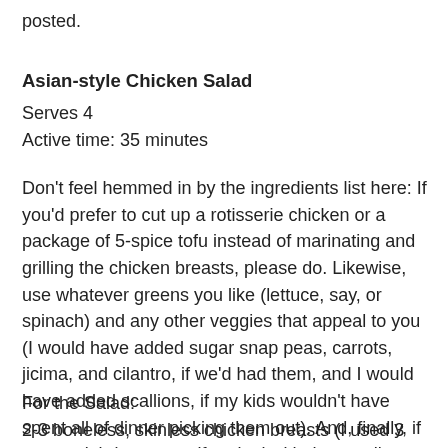posted.
Asian-style Chicken Salad
Serves 4
Active time: 35 minutes
Don't feel hemmed in by the ingredients list here: If you'd prefer to cut up a rotisserie chicken or a package of 5-spice tofu instead of marinating and grilling the chicken breasts, please do. Likewise, use whatever greens you like (lettuce, say, or spinach) and any other veggies that appeal to you (I would have added sugar snap peas, carrots, jicima, and cilantro, if we'd had them, and I would have added scallions, if my kids wouldn't have spent all of dinner picking them out). And, finally, if you can't bring yourself to deal with the noodles--which I totally understand, since it is the only part of this recipe that is actually kind of a pain--skip them and add more peanuts. It will still be delicious.
For the Salad:
2-3 boneless, skinless chicken breasts (I used 3 here, but 2 would have been fine)